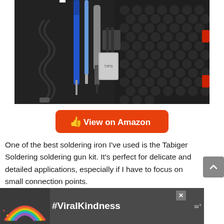[Figure (photo): Soldering iron kit open in a black hard-shell case showing tools including a blue soldering iron, coiled cable, tips, and stand on foam cushioning with red latches visible]
[Figure (other): Orange 'View on Amazon' button with thumbs-up icon]
One of the best soldering iron I've used is the Tabiger Soldering soldering gun kit. It's perfect for delicate and detailed applications, especially if I have to focus on small connection points.
[Figure (other): Advertisement banner showing a rainbow illustration and '#ViralKindness' text on a dark background with close button and logo]